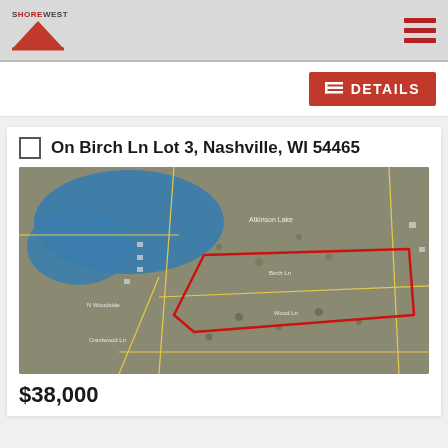Shorewest
DETAILS
On Birch Ln Lot 3, Nashville, WI 54465
[Figure (map): Aerial satellite map showing land lot outlined in red in Nashville, WI near a lake]
$38,000